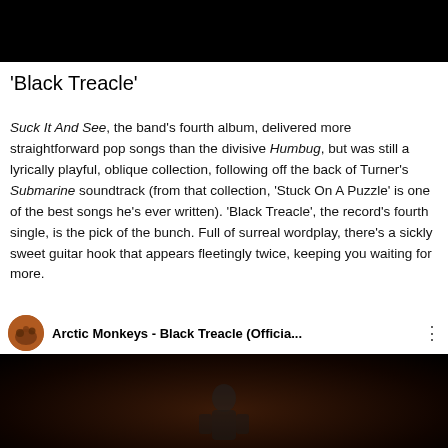[Figure (screenshot): Top portion of a YouTube video player, mostly black]
'Black Treacle'
Suck It And See, the band's fourth album, delivered more straightforward pop songs than the divisive Humbug, but was still a lyrically playful, oblique collection, following off the back of Turner's Submarine soundtrack (from that collection, 'Stuck On A Puzzle' is one of the best songs he's ever written). 'Black Treacle', the record's fourth single, is the pick of the bunch. Full of surreal wordplay, there's a sickly sweet guitar hook that appears fleetingly twice, keeping you waiting for more.
[Figure (screenshot): YouTube video embed showing Arctic Monkeys - Black Treacle (Officia... with band avatar and three-dot menu, dark thumbnail with performer silhouette]